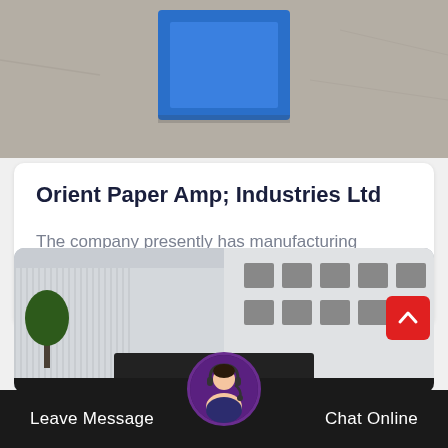[Figure (photo): Top portion of a building exterior photo, showing what appears to be a blue box/sign against a concrete wall]
Orient Paper Amp; Industries Ltd
The company presently has manufacturing facilities at amlai, brajrajnagar, faridabad, noida amp; kolkata. the cement undertaking o…
[Figure (photo): Bottom photo showing an industrial building exterior with white walls and dark windows]
Leave Message
Chat Online